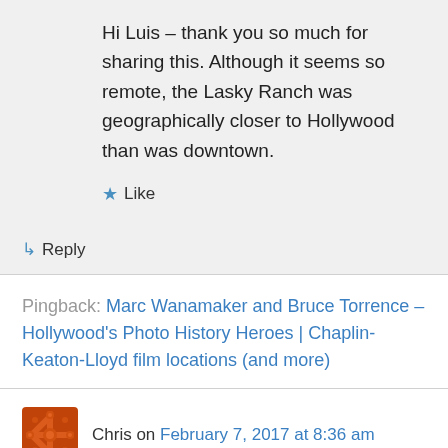Hi Luis – thank you so much for sharing this. Although it seems so remote, the Lasky Ranch was geographically closer to Hollywood than was downtown.
Like
↳ Reply
Pingback: Marc Wanamaker and Bruce Torrence – Hollywood's Photo History Heroes | Chaplin-Keaton-Lloyd film locations (and more)
Chris on February 7, 2017 at 8:36 am
Hi John, thanks for your response – on your C-K-L film locations webpage. As I mentioned